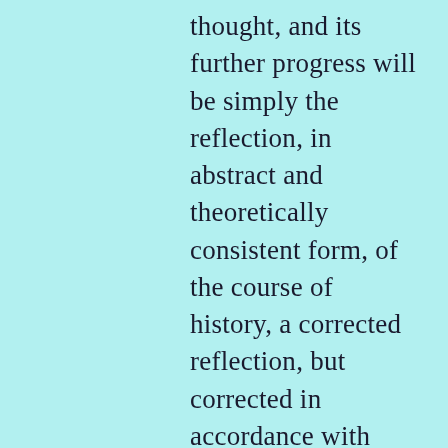thought, and its further progress will be simply the reflection, in abstract and theoretically consistent form, of the course of history, a corrected reflection, but corrected in accordance with laws provided by the actual course of history, since each moment can be examined at the stage of development